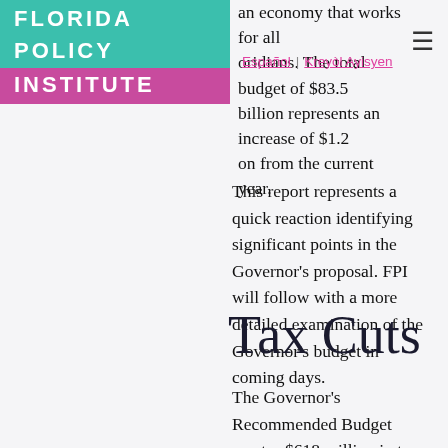FLORIDA POLICY INSTITUTE
an economy that works for all Floridians. The total budget of $83.5 billion represents an increase of $1.2 billion from the current year.
Español | Kreyòl Ayisyen
This report represents a quick reaction identifying significant points in the Governor's proposal. FPI will follow with a more detailed examination of the Governor's budget in coming days.
Tax Cuts
The Governor's Recommended Budget creates $618 million in tax cuts, as follows: